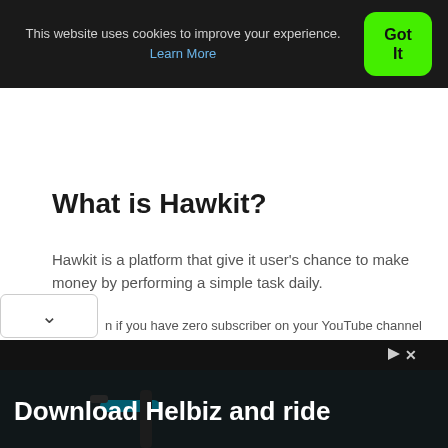This website uses cookies to improve your experience. Learn More
Got It
What is Hawkit?
Hawkit is a platform that give it user's chance to make money by performing a simple task daily.
n if you have zero subscriber on your YouTube channel
[Figure (screenshot): Advertisement banner: 'Download Helbiz and ride' with scooter handlebar image in background, play icon and X close button in top right]